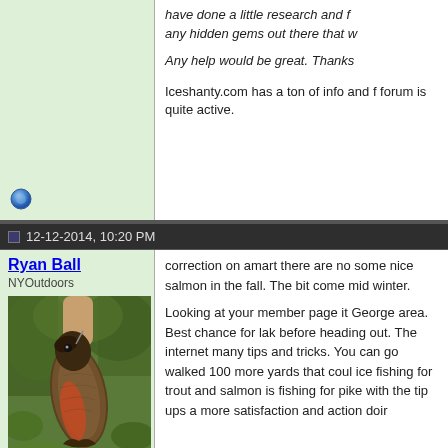have done a little research and f... any hidden gems out there that w...
Any help would be great. Thanks
Iceshanty.com has a ton of info and f... forum is quite active.
12-12-2014, 10:20 PM
Ryan Ball
NYOutdoors
[Figure (photo): Person holding a large fish (trout/salmon) outdoors with foliage in background]
correction on amart there are no... some nice salmon in the fall. The... bit come mid winter.

Looking at your member page it... George area. Best chance for lak... before heading out. The internet... many tips and tricks. You can go... walked 100 more yards that coul... ice fishing for trout and salmon is... fishing for pike with the tip ups a... more satisfaction and action doir...